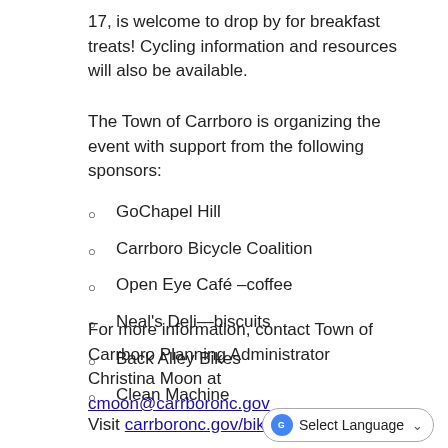17, is welcome to drop by for breakfast treats! Cycling information and resources will also be available.
The Town of Carrboro is organizing the event with support from the following sponsors:
GoChapel Hill
Carrboro Bicycle Coalition
Open Eye Café –coffee
Neal's Deli—biscuits
Back Alley Bikes
Clean Machine
For more information, contact Town of Carrboro Planning Administrator Christina Moon at cmoon@carrboronc.gov
Visit carrboronc.gov/bikemonth